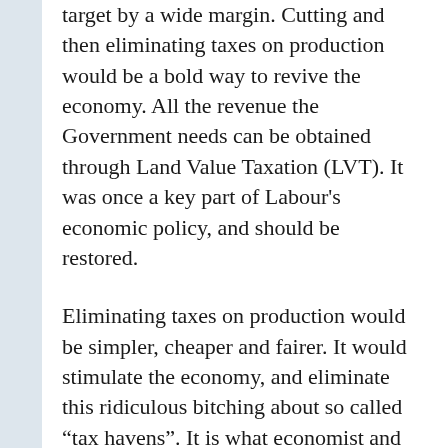target by a wide margin. Cutting and then eliminating taxes on production would be a bold way to revive the economy. All the revenue the Government needs can be obtained through Land Value Taxation (LVT). It was once a key part of Labour’s economic policy, and should be restored.
Eliminating taxes on production would be simpler, cheaper and fairer. It would stimulate the economy, and eliminate this ridiculous bitching about so called “tax havens”. It is what economist and politicians from across the political spectrum have been advocating for a long time.